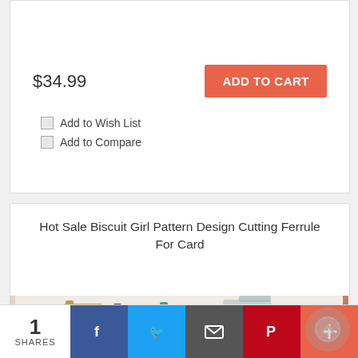$34.99
ADD TO CART
Add to Wish List
Add to Compare
Hot Sale Biscuit Girl Pattern Design Cutting Ferrule For Card
[Figure (photo): Product photo showing colorful biscuit girl pattern card holders/sleeves in various colors including pink, teal, gold, and dark purple, with illustrated girl characters on each card.]
1 SHARES
[Figure (infographic): Social sharing bar with Facebook, Twitter, Email/Share, Pinterest, and More (+) buttons]